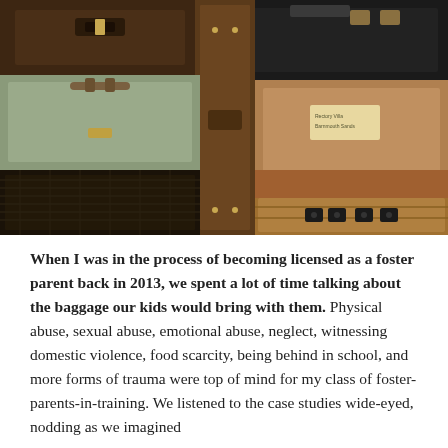[Figure (photo): A photograph of a collection of vintage/antique stacked suitcases and trunks in various shades of brown, tan, black, and green leather, with metal clasps and handles.]
When I was in the process of becoming licensed as a foster parent back in 2013, we spent a lot of time talking about the baggage our kids would bring with them. Physical abuse, sexual abuse, emotional abuse, neglect, witnessing domestic violence, food scarcity, being behind in school, and more forms of trauma were top of mind for my class of foster-parents-in-training. We listened to the case studies wide-eyed, nodding as we imagined